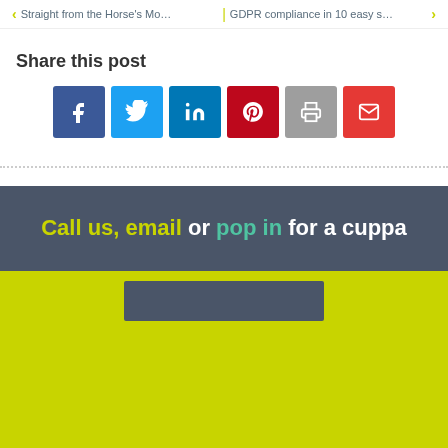Straight from the Horse's Mo… | GDPR compliance in 10 easy s…
Share this post
[Figure (infographic): Row of six social share buttons: Facebook (dark blue), Twitter (light blue), LinkedIn (medium blue), Pinterest (dark red), Print (grey), Email (red), each showing a white icon.]
Call us, email or pop in for a cuppa